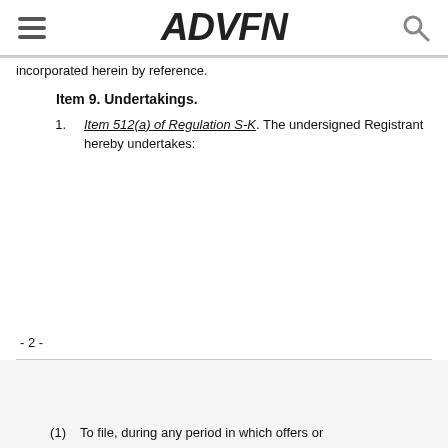ADVFN
incorporated herein by reference.
Item 9. Undertakings.
1.   Item 512(a) of Regulation S-K. The undersigned Registrant hereby undertakes:
- 2 -
(1)    To file, during any period in which offers or